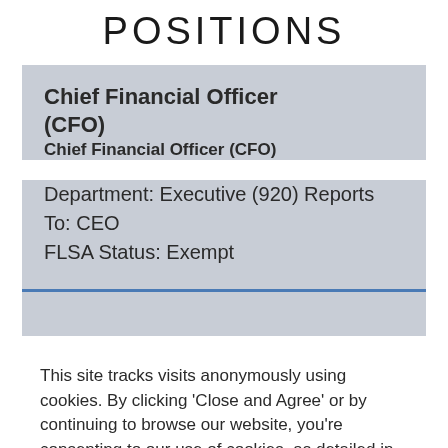POSITIONS
Chief Financial Officer (CFO)
Chief Financial Officer (CFO)
Department: Executive (920) Reports To: CEO
FLSA Status: Exempt
This site tracks visits anonymously using cookies. By clicking 'Close and Agree' or by continuing to browse our website, you're consenting to our use of cookies, as detailed in our Privacy Policy.
Close and Agree